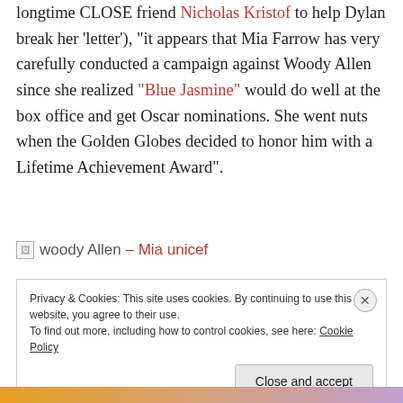longtime CLOSE friend Nicholas Kristof to help Dylan break her 'letter'), "it appears that Mia Farrow has very carefully conducted a campaign against Woody Allen since she realized "Blue Jasmine" would do well at the box office and get Oscar nominations. She went nuts when the Golden Globes decided to honor him with a Lifetime Achievement Award".
[Figure (other): Broken image placeholder with alt text 'woody Allen - Mia unicef']
Privacy & Cookies: This site uses cookies. By continuing to use this website, you agree to their use.
To find out more, including how to control cookies, see here: Cookie Policy
Close and accept